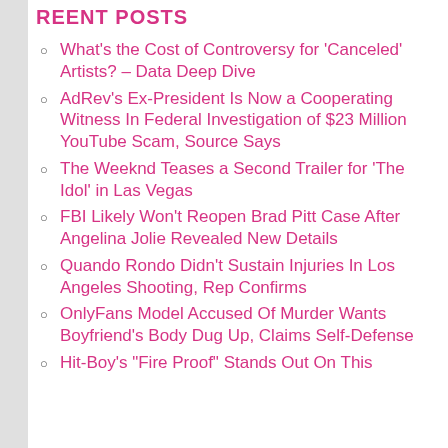REENT POSTS
What's the Cost of Controversy for ‘Canceled’ Artists? – Data Deep Dive
AdRev’s Ex-President Is Now a Cooperating Witness In Federal Investigation of $23 Million YouTube Scam, Source Says
The Weeknd Teases a Second Trailer for ‘The Idol’ in Las Vegas
FBI Likely Won't Reopen Brad Pitt Case After Angelina Jolie Revealed New Details
Quando Rondo Didn't Sustain Injuries In Los Angeles Shooting, Rep Confirms
OnlyFans Model Accused Of Murder Wants Boyfriend's Body Dug Up, Claims Self-Defense
Hit-Boy's "Fire Proof" Stands Out On This